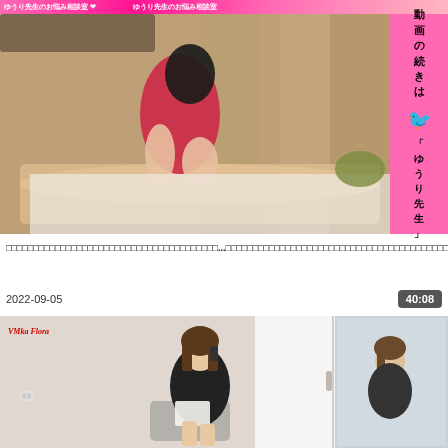ゆうり先生のお悩み相談室
[Figure (screenshot): Video thumbnail showing a massage scene. Left side shows ゆうり先生のお悩み相談室 overlay text. Right sidebar is pink with Japanese text 動画の続きは「ゆうり先生」and Twitter bird icon.]
□□□□□□□□□□□□□□□□□□□□□□□□□□□□□□□□□□□□□□□...□□□□□□□□□□□□□□□□□□□□□□□□□□□□□□□□□□□□□□□□□□□□□!?
2022-09-05
40:08
[Figure (screenshot): Second video thumbnail showing a woman in black outfit sitting in an office/room setting, talking on phone holding papers. Mirror reflection visible on right.]